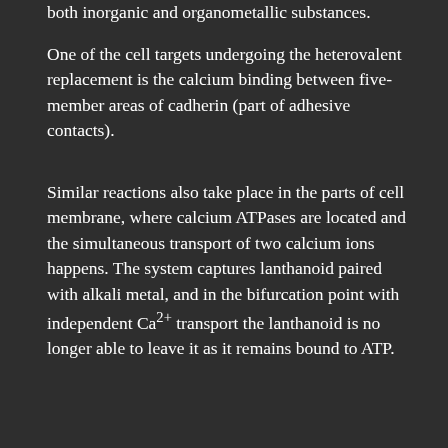both inorganic and organometallic substances.
One of the cell targets undergoing the heterovalent replacement is the calcium binding between five-member areas of cadherin (part of adhesive contacts).
Similar reactions also take place in the parts of cell membrane, where calcium ATPases are located and the simultaneous transport of two calcium ions happens. The system captures lanthanoid paired with alkali metal, and in the bifurcation point with independent Ca2+ transport the lanthanoid is no longer able to leave it as it remains bound to ATP.